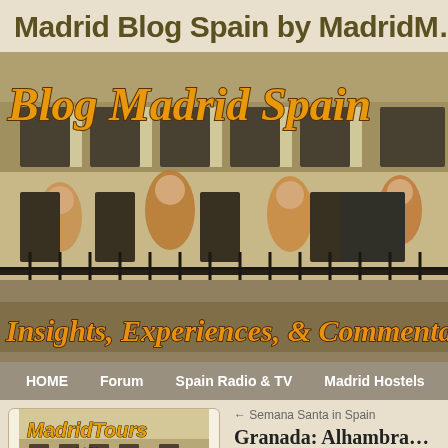Madrid Blog Spain by MadridM...
[Figure (photo): Blog Madrid Spain banner image showing a historic Spanish building (Plaza Mayor) with ornate frescoes and balconies. Large orange/yellow italic text reads 'Blog Madrid Spain' at the top and 'Insights, Experiences, & Commenta...' at the bottom of the banner image.]
HOME | Forum | Spain Radio & TV | Madrid Hostels | Hostale...
[Figure (photo): MadridTours.com advertisement thumbnail showing a Spanish building with orange italic text reading 'MadridTours' and '.com']
← Semana Santa in Spain
Granada: Alhambra...
Posted on April 3, 2008 by MadridM...